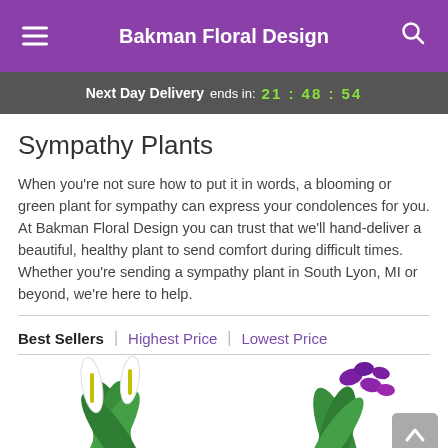Bakman Floral Design
Next Day Delivery ends in: 21:48:54
Sympathy Plants
When you're not sure how to put it in words, a blooming or green plant for sympathy can express your condolences for you. At Bakman Floral Design you can trust that we'll hand-deliver a beautiful, healthy plant to send comfort during difficult times. Whether you're sending a sympathy plant in South Lyon, MI or beyond, we're here to help.
Best Sellers | Highest Price | Lowest Price
[Figure (photo): Two product photos partially visible at bottom: a peace lily plant on the left and a purple orchid/green plant on the right]